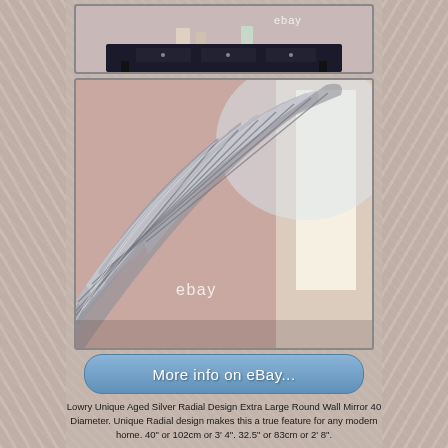[Figure (photo): Partial photo of a decorative mirror on a dark sideboard with an eBay watermark, cropped at top]
[Figure (photo): Close-up detail photo of a silver radial/wing-patterned round mirror frame with eBay watermark, showing sweeping metallic ridges against a blush/pink room background]
[Figure (other): Blue rounded-rectangle button reading 'More info on eBay...']
Lowry Unique Aged Silver Radial Design Extra Large Round Wall Mirror 40 Diameter. Unique Radial design makes this a true feature for any modern home. 40" or 102cm or 3' 4". 32.5" or 83cm or 2' 8".